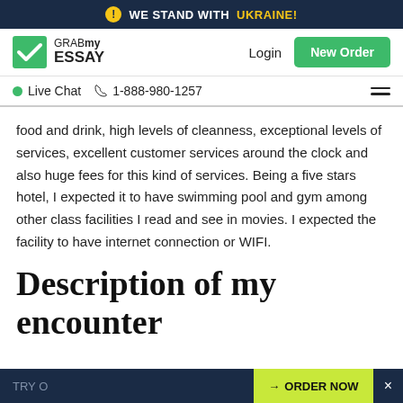WE STAND WITH UKRAINE!
[Figure (logo): GrabMyEssay logo with green checkmark icon, Login link and New Order button]
Live Chat  1-888-980-1257
food and drink, high levels of cleanness, exceptional levels of services, excellent customer services around the clock and also huge fees for this kind of services. Being a five stars hotel, I expected it to have swimming pool and gym among other class facilities I read and see in movies. I expected the facility to have internet connection or WIFI.
Description of my encounter
TRY O  →ORDER NOW  ×